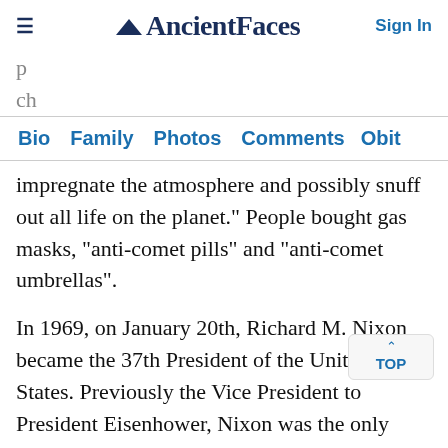AncientFaces — Sign In
impregnate the atmosphere and possibly snuff out all life on the planet." People bought gas masks, "anti-comet pills" and "anti-comet umbrellas".
In 1969, on January 20th, Richard M. Nixon became the 37th President of the United States. Previously the Vice President to President Eisenhower, Nixon was the only President to resign in office – in his second term.
In 1987, was the first time that a criminal in the United States – a serial rapist – was convicted